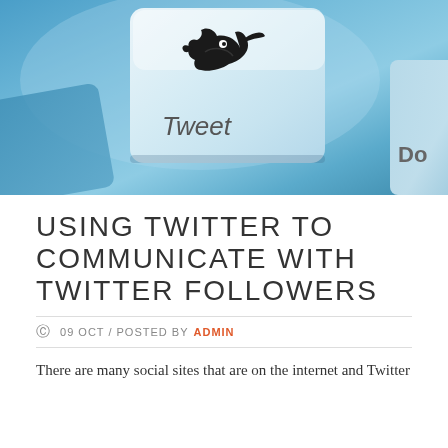[Figure (photo): A keyboard key with a Twitter bird logo and the word 'Tweet' on it, in a blue-tinted photo. Partially visible keys to the left and right (one labeled 'Do').]
USING TWITTER TO COMMUNICATE WITH TWITTER FOLLOWERS
09 OCT / POSTED BY ADMIN
There are many social sites that are on the internet and Twitter